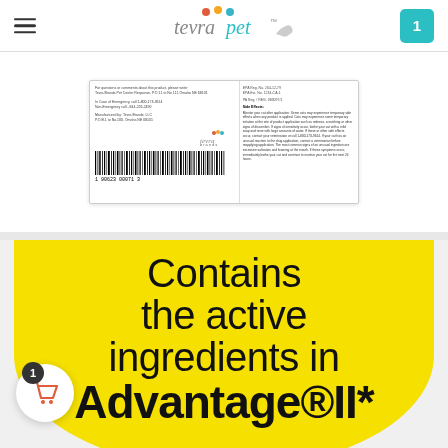tevrapet — navigation header with hamburger menu and cart icon showing 1
[Figure (photo): Product label for TevraVet/TevraPet flea treatment showing barcode 1 90623 00071 3, with small print text about emergency contact, manufacturer info, and side effects, with Tevra brand logo]
Contains the active ingredients in Advantage®II*